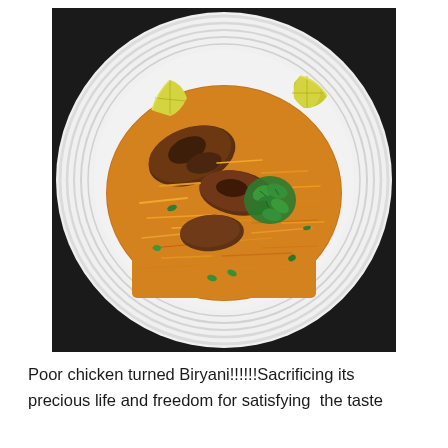[Figure (photo): Overhead view of a white ceramic ridged plate containing chicken biryani — saffron-colored basmati rice with pieces of grilled/roasted chicken, garnished with fresh green mint leaves and lemon wedges.]
Poor chicken turned Biryani!!!!!!Sacrificing its precious life and freedom for satisfying  the taste